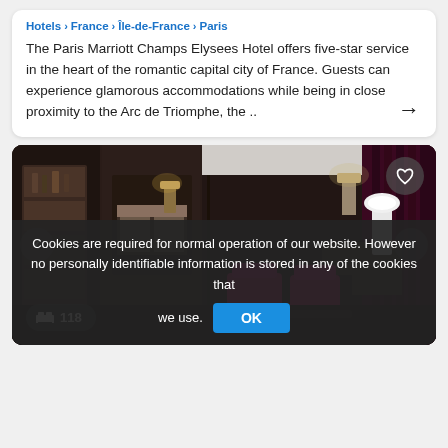Hotels > France > Île-de-France > Paris
The Paris Marriott Champs Elysees Hotel offers five-star service in the heart of the romantic capital city of France. Guests can experience glamorous accommodations while being in close proximity to the Arc de Triomphe, the ..
[Figure (photo): Hotel room interior showing a luxurious dark-wood bedroom with a large bed, mirror, lamps, and a seating area with magenta/pink chairs and sofa]
Cookies are required for normal operation of our website. However no personally identifiable information is stored in any of the cookies that we use.
118